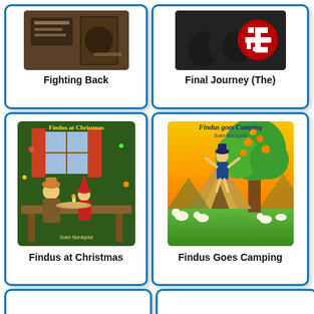[Figure (illustration): Book cover for Fighting Back - partially visible at top]
Fighting Back
[Figure (illustration): Book cover for Final Journey (The) - partially visible at top with swastika imagery]
Final Journey (The)
[Figure (illustration): Book cover for Findus at Christmas by Sven Nordqvist - colorful illustration of old man and elf at table]
Findus at Christmas
[Figure (illustration): Book cover for Findus Goes Camping by Sven Nordqvist - colorful illustration with tent and tree]
Findus Goes Camping